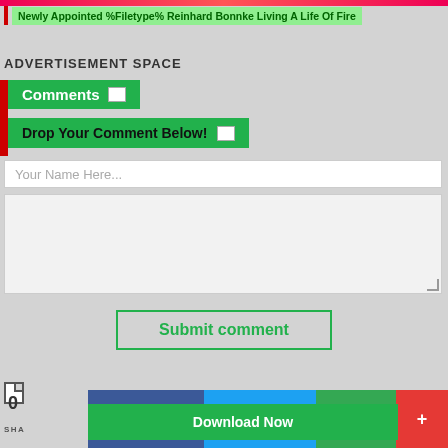Newly Appointed %Filetype% Reinhard Bonnke Living A Life Of Fire
ADVERTISEMENT SPACE
Comments
Drop Your Comment Below!
Your Name Here...
Submit comment
0
SHA
Download Now